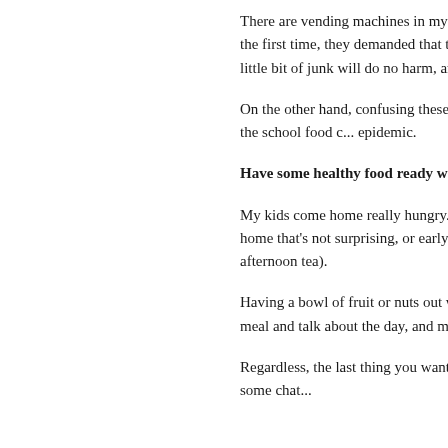There are vending machines in my older kids' school. On the day they visited the school for the first time, they demanded that this will not happen often. As long as it's occasional, a little bit of junk will do no harm, and turning it into forbidden importance and allure.
On the other hand, confusing these items with regular food is why many people think that the school food c... epidemic.
Have some healthy food ready when they c...
My kids come home really hungry. Considering the long gap and the time kids arrive at home that's not su... or early evening meal makes sense (a civilize... as tea time or afternoon tea).
Having a bowl of fruit or nuts out works wel... yesterday's leftovers as the afternoon small m... and talk about the day, and makes good use c...
Regardless, the last thing you want is kids gr... sit them down for some real food and some c...